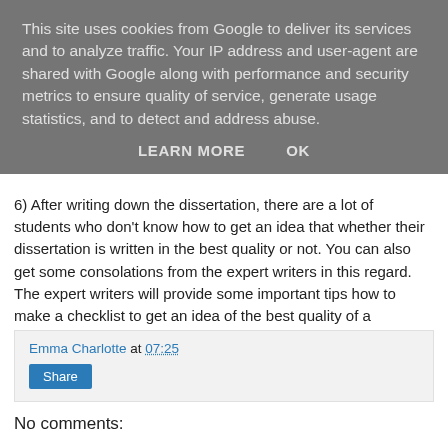This site uses cookies from Google to deliver its services and to analyze traffic. Your IP address and user-agent are shared with Google along with performance and security metrics to ensure quality of service, generate usage statistics, and to detect and address abuse.
LEARN MORE   OK
6) After writing down the dissertation, there are a lot of students who don't know how to get an idea that whether their dissertation is written in the best quality or not. You can also get some consolations from the expert writers in this regard. The expert writers will provide some important tips how to make a checklist to get an idea of the best quality of a dissertation.
Emma Charlotte at 07:25
Share
No comments: